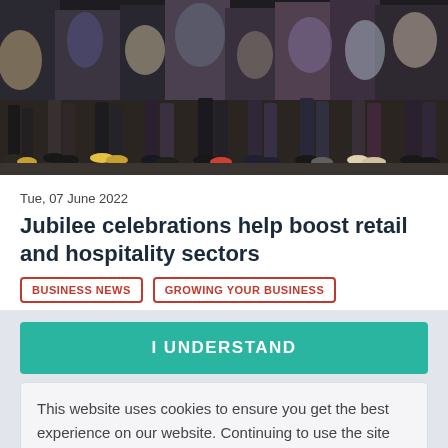[Figure (photo): Blurred crowd photo showing legs and feet of people walking on a busy street, motion blur effect, colorful shoes and clothing visible]
Tue, 07 June 2022
Jubilee celebrations help boost retail and hospitality sectors
BUSINESS NEWS
GROWING YOUR BUSINESS
I UNDERSTAND
This website uses cookies to ensure you get the best experience on our website. Continuing to use the site implies you are happy for us to use cookies. More info